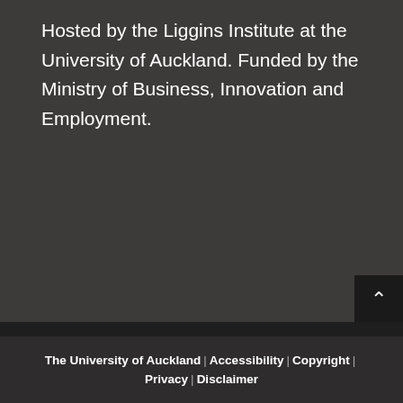Hosted by the Liggins Institute at the University of Auckland. Funded by the Ministry of Business, Innovation and Employment.
[Figure (logo): Two institutional logos: a small square logo and the University of Otago logo with crest]
The University of Auckland | Accessibility | Copyright | Privacy | Disclaimer